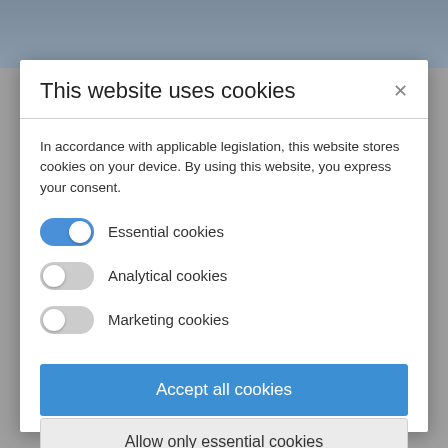[Figure (screenshot): Background website screenshot partially visible behind cookie consent modal]
This website uses cookies
In accordance with applicable legislation, this website stores cookies on your device. By using this website, you express your consent.
Essential cookies (toggle: on)
Analytical cookies (toggle: off)
Marketing cookies (toggle: off)
Accept all cookies
Allow only essential cookies
More information